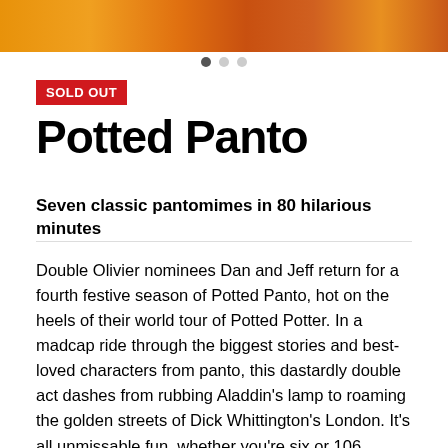[Figure (photo): Colorful pantomime-themed image with orange and red tones at the top of the page]
SOLD OUT
Potted Panto
Seven classic pantomimes in 80 hilarious minutes
Double Olivier nominees Dan and Jeff return for a fourth festive season of Potted Panto, hot on the heels of their world tour of Potted Potter. In a madcap ride through the biggest stories and best-loved characters from panto, this dastardly double act dashes from rubbing Aladdin's lamp to roaming the golden streets of Dick Whittington's London. It's all unmissable fun, whether you're six or 106. "Deliciously festive fun for all ages." – WhatsOnStage "So silly it's just one long joke." – The Guardian "The hordes of children fall around with delight at the mixture of sarcasm